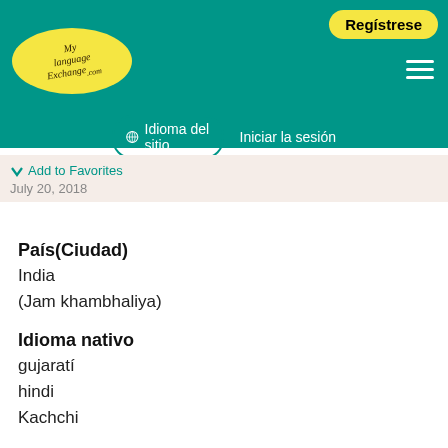MyLanguageExchange.com — Regístrese | Idioma del sitio | Iniciar la sesión
Add to Favorites
July 20, 2018
País(Ciudad)
India
(Jam khambhaliya)
Idioma nativo
gujaratí
hindi
Kachchi
Idioma que practica
portugués
ruso
filipino (tagalog)
polaco